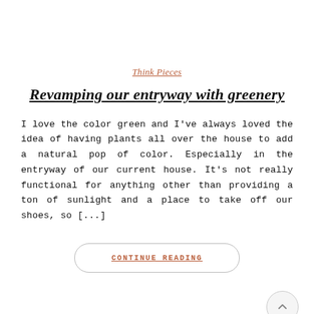Think Pieces
Revamping our entryway with greenery
I love the color green and I’ve always loved the idea of having plants all over the house to add a natural pop of color. Especially in the entryway of our current house. It’s not really functional for anything other than providing a ton of sunlight and a place to take off our shoes, so […]
CONTINUE READING
[Figure (other): Partial image visible at bottom of page with a small icon]